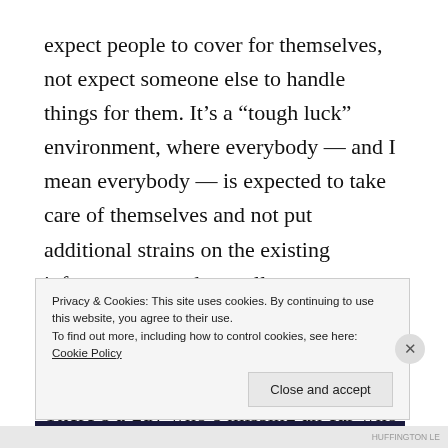expect people to cover for themselves, not expect someone else to handle things for them. It's a “tough luck” environment, where everybody — and I mean everybody — is expected to take care of themselves and not put additional strains on the existing infrastructure and overall team cohesiveness by expecting special treatment.
There’s a guy who’s missing an ear who simply puts a large bandage over one side of his head and goes about
Privacy & Cookies: This site uses cookies. By continuing to use this website, you agree to their use.
To find out more, including how to control cookies, see here: Cookie Policy
Close and accept